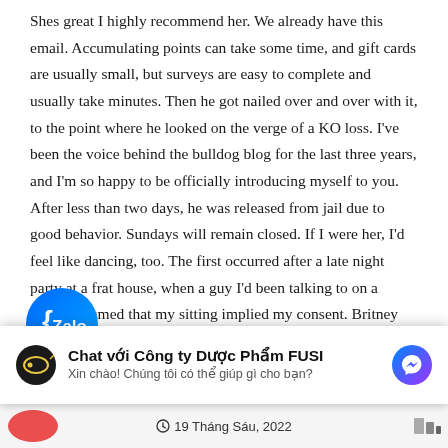Shes great I highly recommend her. We already have this email. Accumulating points can take some time, and gift cards are usually small, but surveys are easy to complete and usually take minutes. Then he got nailed over and over with it, to the point where he looked on the verge of a KO loss. I've been the voice behind the bulldog blog for the last three years, and I'm so happy to be officially introducing myself to you. After less than two days, he was released from jail due to good behavior. Sundays will remain closed. If I were her, I'd feel like dancing, too. The first occurred after a late night party at a frat house, when a guy I'd been talking to on a couch assumed that my sitting implied my consent. Britney Spears' debut single.
[Figure (logo): Zalo app icon - circular blue gradient button with white Zalo logo text and bracket symbol]
YOU MIGHT ALSO LIKE
[Figure (screenshot): Chat overlay widget: Chat với Công ty Dược Phẩm FUSI. Xin chào! Chúng tôi có thể giúp gì cho bạn? with Facebook Messenger button]
19 Tháng Sáu, 2022